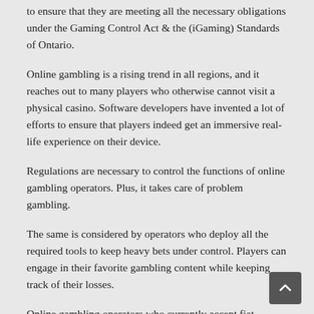to ensure that they are meeting all the necessary obligations under the Gaming Control Act & the (iGaming) Standards of Ontario.
Online gambling is a rising trend in all regions, and it reaches out to many players who otherwise cannot visit a physical casino. Software developers have invented a lot of efforts to ensure that players indeed get an immersive real-life experience on their device.
Regulations are necessary to control the functions of online gambling operators. Plus, it takes care of problem gambling.
The same is considered by operators who deploy all the required tools to keep heavy bets under control. Players can engage in their favorite gambling content while keeping track of their losses.
Online gambling operators who currently accept fiat currencies are looking for a way to integrate cryptocurrency's acceptance for benefits associated with digital currency. Some include speedy deposits & withdrawals, blockchain security, and